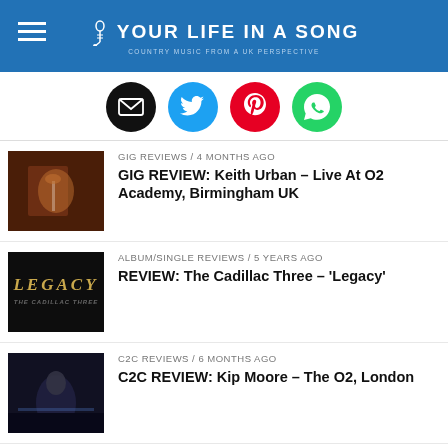YOUR LIFE IN A SONG — Country Music from a UK Perspective
[Figure (infographic): Social sharing icons: email (black), Twitter (blue), Pinterest (red), WhatsApp (green)]
GIG REVIEWS / 4 months ago
GIG REVIEW: Keith Urban – Live At O2 Academy, Birmingham UK
ALBUM/SINGLE REVIEWS / 5 years ago
REVIEW: The Cadillac Three – 'Legacy'
C2C REVIEWS / 6 months ago
C2C REVIEW: Kip Moore – The O2, London
ALBUM/SINGLE REVIEWS / 4 months ago
EP REVIEW: Tenille Townes – "Masquerades"